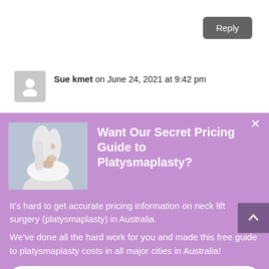Reply
Sue kmet on June 24, 2021 at 9:42 pm
Want Our Secret Pricing Guide to Platysmaplasty?
[Figure (photo): Woman with white/silver hair touching her neck, side profile, medical aesthetic context]
It's hard to get accurate pricing information on neck lift surgery (platysmaplasty) in Australia.
We've done all the hard work for you and made this free guide to platysmaplasty costs in all major cities in Australia!
Download Pricing Guide